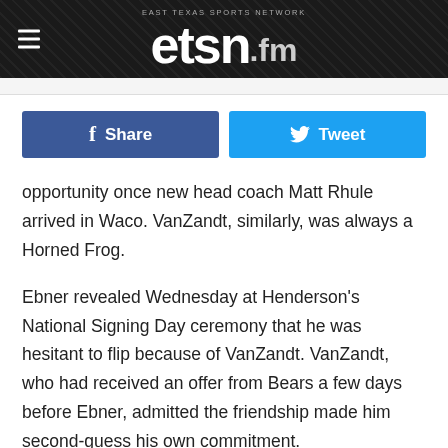etsn.fm — East Texas Sports Network
opportunity once new head coach Matt Rhule arrived in Waco. VanZandt, similarly, was always a Horned Frog.
Ebner revealed Wednesday at Henderson's National Signing Day ceremony that he was hesitant to flip because of VanZandt. VanZandt, who had received an offer from Bears a few days before Ebner, admitted the friendship made him second-guess his own commitment.
"He talked to me first," VanZandt said while recalling the day Ebner decommitted from TCU to seriously consider his new